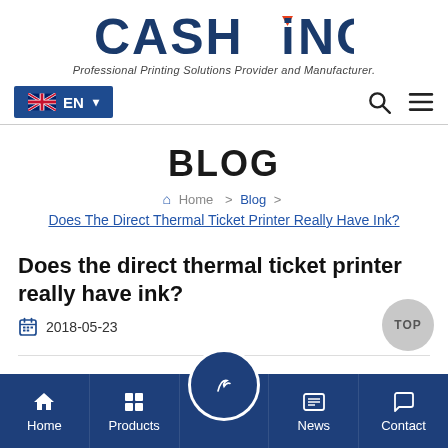[Figure (logo): CASHiNO logo with blue bold text and orange triangle/dot accent]
Professional Printing Solutions Provider and Manufacturer.
EN language selector with UK flag and navigation icons (search, menu)
BLOG
Home > Blog > Does The Direct Thermal Ticket Printer Really Have Ink?
Does the direct thermal ticket printer really have ink?
2018-05-23
Home | Products | Blog | News | Contact